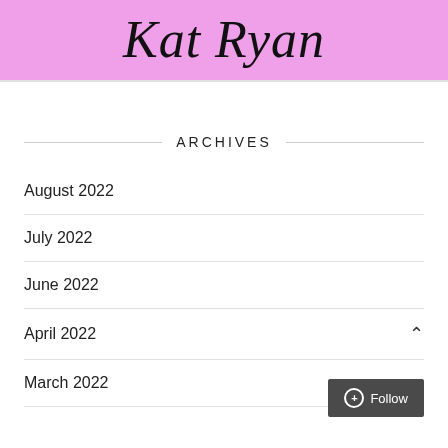Kat Ryan
ARCHIVES
August 2022
July 2022
June 2022
April 2022
March 2022